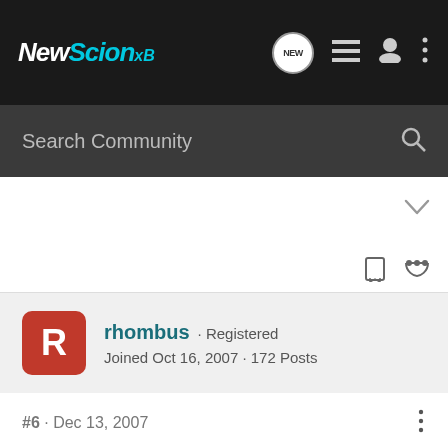NewScionxB
Search Community
rhombus · Registered
Joined Oct 16, 2007 · 172 Posts
#6 · Dec 13, 2007
Yeah Ken! That's wicked... I think I saw an email from Ken on my parents' email about some TRD sparks parts 😉 haha